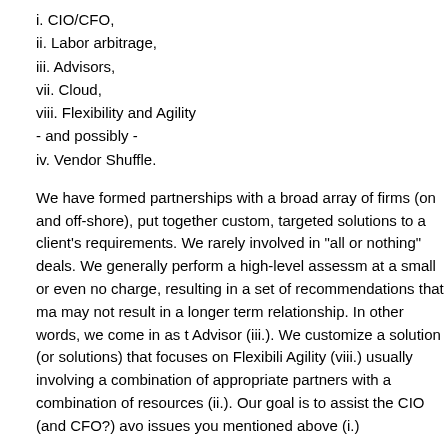i. CIO/CFO,
ii. Labor arbitrage,
iii. Advisors,
vii. Cloud,
viii. Flexibility and Agility
- and possibly -
iv. Vendor Shuffle.
We have formed partnerships with a broad array of firms (on and off-shore), put together custom, targeted solutions to a client's requirements. We rarely involved in "all or nothing" deals. We generally perform a high-level assessment at a small or even no charge, resulting in a set of recommendations that may may not result in a longer term relationship. In other words, we come in as the Advisor (iii.). We customize a solution (or solutions) that focuses on Flexibility Agility (viii.) usually involving a combination of appropriate partners with a combination of resources (ii.). Our goal is to assist the CIO (and CFO?) avoid issues you mentioned above (i.)
We are keeping our eye on the Cloud marketplace with the understanding that will play a major role in enterprises and, therefore, we want to ensure the Flexibility/Agility is built in to take advantage of the benefits of Cloud Computing as they become more appropriate in an enterprise environment.